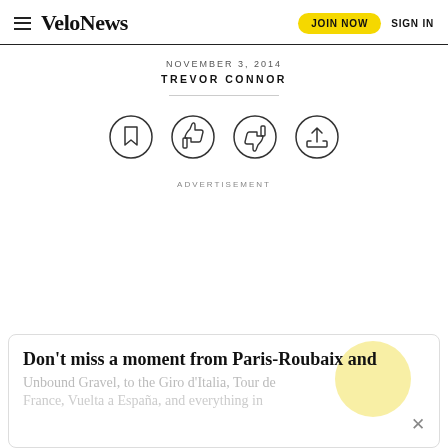VeloNews — JOIN NOW  SIGN IN
NOVEMBER 3, 2014
TREVOR CONNOR
[Figure (infographic): Four circular icon buttons: bookmark, thumbs up, thumbs down, share]
ADVERTISEMENT
Don't miss a moment from Paris-Roubaix and Unbound Gravel, to the Giro d'Italia, Tour de France, Vuelta a España, and everything in